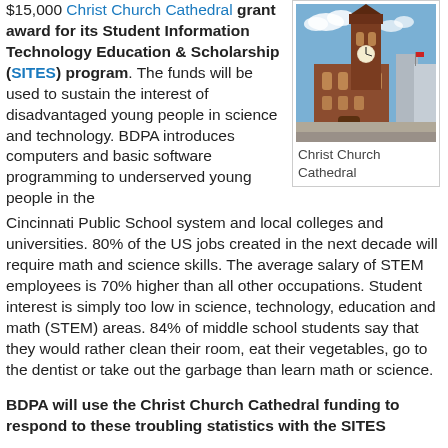$15,000 Christ Church Cathedral grant award for its Student Information Technology Education & Scholarship (SITES) program. The funds will be used to sustain the interest of disadvantaged young people in science and technology. BDPA introduces computers and basic software programming to underserved young people in the Cincinnati Public School system and local colleges and universities. 80% of the US jobs created in the next decade will require math and science skills. The average salary of STEM employees is 70% higher than all other occupations. Student interest is simply too low in science, technology, education and math (STEM) areas. 84% of middle school students say that they would rather clean their room, eat their vegetables, go to the dentist or take out the garbage than learn math or science.
[Figure (photo): Photograph of Christ Church Cathedral, a red brick building with a tall clock tower, taken from street level on a sunny day.]
Christ Church Cathedral
BDPA will use the Christ Church Cathedral funding to respond to these troubling statistics with the SITES